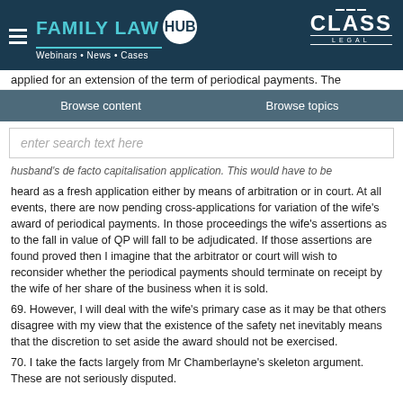FAMILY LAW HUB — Webinars · News · Cases | CLASS LEGAL
applied for an extension of the term of periodical payments. The
Browse content    Browse topics
enter search text here
husband's de facto capitalisation application. This would have to be heard as a fresh application either by means of arbitration or in court. At all events, there are now pending cross-applications for variation of the wife's award of periodical payments. In those proceedings the wife's assertions as to the fall in value of QP will fall to be adjudicated. If those assertions are found proved then I imagine that the arbitrator or court will wish to reconsider whether the periodical payments should terminate on receipt by the wife of her share of the business when it is sold.
69. However, I will deal with the wife's primary case as it may be that others disagree with my view that the existence of the safety net inevitably means that the discretion to set aside the award should not be exercised.
70. I take the facts largely from Mr Chamberlayne's skeleton argument. These are not seriously disputed.